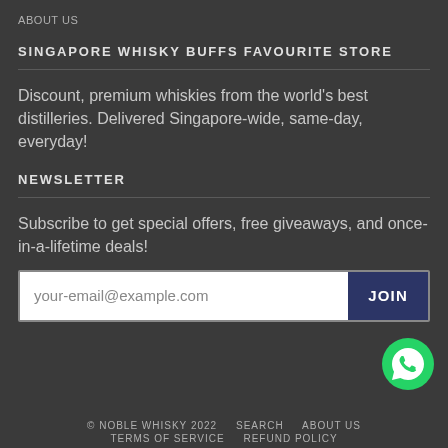ABOUT US
SINGAPORE WHISKY BUFFS FAVOURITE STORE
Discount, premium whiskies from the world's best distilleries. Delivered Singapore-wide, same-day, everyday!
NEWSLETTER
Subscribe to get special offers, free giveaways, and once-in-a-lifetime deals!
your-email@example.com  JOIN
[Figure (illustration): Green WhatsApp phone icon circle button]
© NOBLE WHISKY 2022   SEARCH   ABOUT US
TERMS OF SERVICE   REFUND POLICY